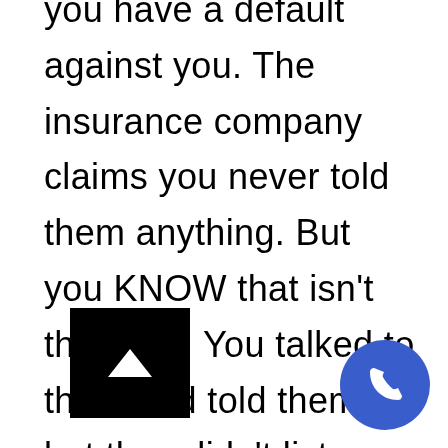you have a default against you. The insurance company claims you never told them anything. But you KNOW that isn't the case. You talked to them and told them, but they didn't listen and did nothing. You now have a judgment against your record, and they refuse to correct it. You have legal rights. Please contact us if you need assistance navigating your rights against your insurance company. We can assist you ensuring that your insurance company does not take advantage of you.